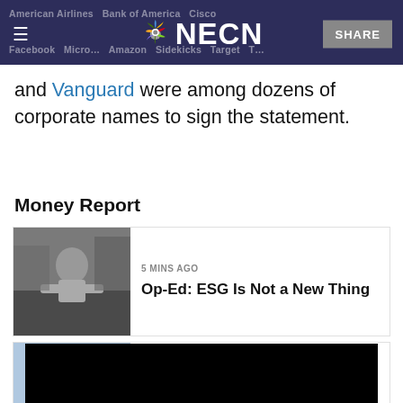American Airlines, Bank of America, Cisco, Facebook, Microsoft, Amazon Sidekicks, Target ... and Vanguard (NECN header)
and Vanguard were among dozens of corporate names to sign the statement.
Money Report
[Figure (photo): Black and white photo of a man sitting at a desk]
5 MINS AGO
Op-Ed: ESG Is Not a New Thing
[Figure (photo): Photo of the US Capitol building with tulips in the foreground]
14 MINS AGO
Coinbase, FTX, Binance Get Inquiries as Congress Looks to Crack Down on $l...
[Figure (screenshot): Black video player area at the bottom of the page]